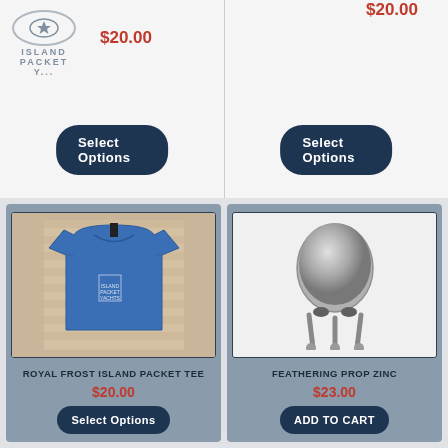[Figure (photo): Partial top product card - Island Packet logo, price $20.00, Select Options button]
[Figure (photo): Partial top product card - price $20.00, Select Options button]
[Figure (photo): Royal Frost Island Packet Tee - blue t-shirt product photo]
ROYAL FROST ISLAND PACKET TEE
$20.00
Select Options
[Figure (photo): Feathering Prop Zinc - metallic cone with bolts product photo]
FEATHERING PROP ZINC
$23.00
ADD TO CART